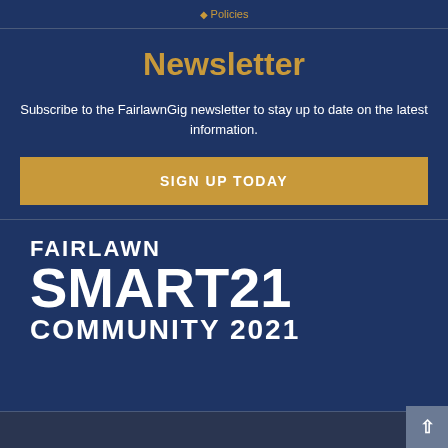Policies
Newsletter
Subscribe to the FairlawnGig newsletter to stay up to date on the latest information.
SIGN UP TODAY
[Figure (logo): Fairlawn Smart21 Community 2021 logo in white bold text on dark blue background]
Back to top